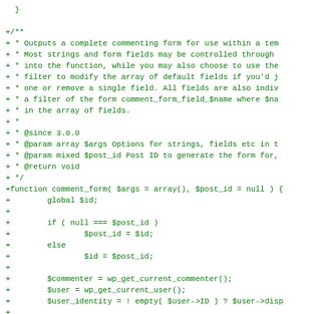Code diff showing a PHP comment_form function with JSDoc comments and function body including global $id, if/else block, $commenter, $user, $user_identity, $req, $aria_req, $fields = array() assignments